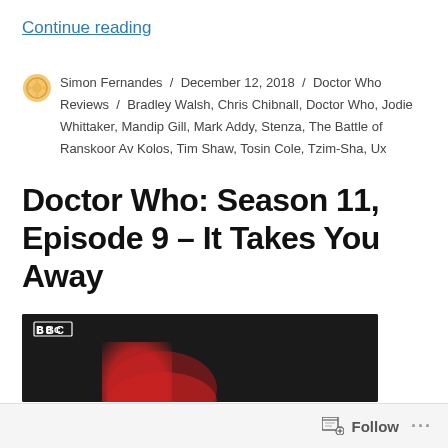Continue reading
Simon Fernandes / December 12, 2018 / Doctor Who Reviews / Bradley Walsh, Chris Chibnall, Doctor Who, Jodie Whittaker, Mandip Gill, Mark Addy, Stenza, The Battle of Ranskoor Av Kolos, Tim Shaw, Tosin Cole, Tzim-Sha, Ux
Doctor Who: Season 11, Episode 9 – It Takes You Away
[Figure (screenshot): Dark BBC screenshot showing a red-tinted figure against a dark background, with BBC logo visible in the top left]
Follow ...